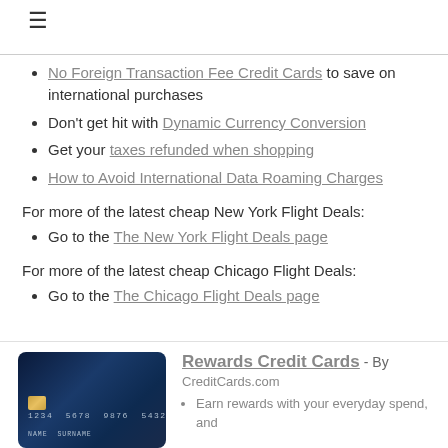≡
No Foreign Transaction Fee Credit Cards to save on international purchases
Don't get hit with Dynamic Currency Conversion
Get your taxes refunded when shopping
How to Avoid International Data Roaming Charges
For more of the latest cheap New York Flight Deals:
Go to the The New York Flight Deals page
For more of the latest cheap Chicago Flight Deals:
Go to the The Chicago Flight Deals page
[Figure (photo): Blue credit card with chip and number 1234 5678 9876 5432, name SURNAME]
Rewards Credit Cards - By CreditCards.com
Earn rewards with your everyday spend, and